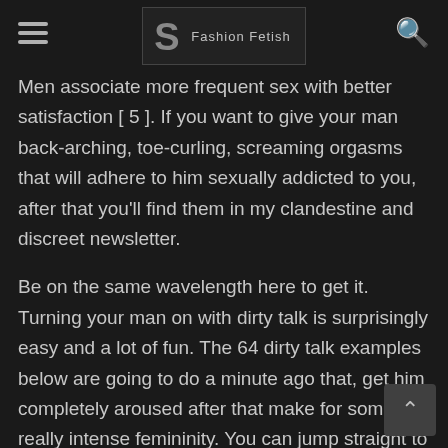Fashion Fetish
Men associate more frequent sex with better satisfaction [ 5 ]. If you want to give your man back-arching, toe-curling, screaming orgasms that will adhere to him sexually addicted to you, after that you'll find them in my clandestine and discreet newsletter.
Be on the same wavelength here to get it. Turning your man on with dirty talk is surprisingly easy and a lot of fun. The 64 dirty talk examples below are going to do a minute ago that, get him completely aroused after that make for some really intense femininity. You can jump straight to the 64 dirty talking examples by clicking here. Side Note: I put all together this in-depth assesment that will bare just how good you are by sexting and talking dirty to your man. In Chapter 1 you be able to read it here , I discussed the three